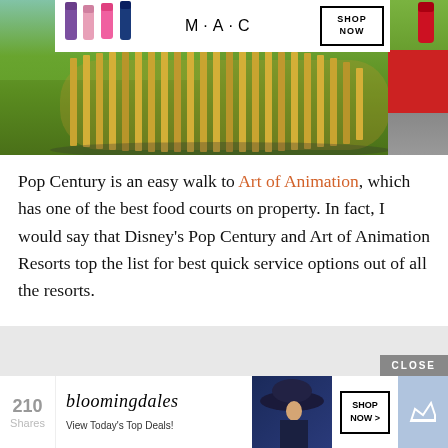[Figure (photo): Top banner showing MAC Cosmetics advertisement with colorful lipsticks on left side, MAC logo and SHOP NOW button in center, and a red lipstick on right. Below is a photo of a curved golden slatted structure on green grass at what appears to be a Disney resort property.]
Pop Century is an easy walk to Art of Animation, which has one of the best food courts on property. In fact, I would say that Disney's Pop Century and Art of Animation Resorts top the list for best quick service options out of all the resorts.
[Figure (other): Advertisement area with gray background, a CLOSE button in lower right corner, and a Bloomingdales ad at the bottom showing the bloomingdales logo, 'View Today's Top Deals!' text, a model wearing a hat, and a SHOP NOW > button. Left side shows 210 Shares counter. Right side shows a crown icon on blue background.]